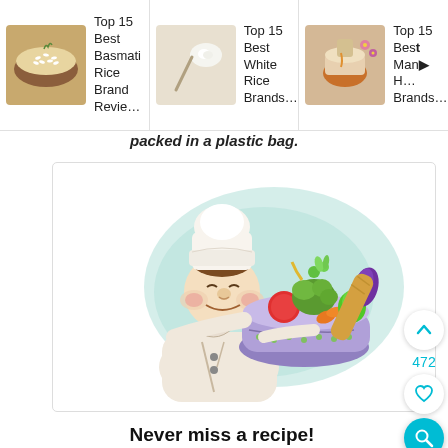[Figure (illustration): Ad bar with three food-related article thumbnails and titles: 'Top 15 Best Basmati Rice Brand Revie…', 'Top 15 Best White Rice Brands…', 'Top 15 Bes Manu… H… Brands…']
packed in a plastic bag.
[Figure (illustration): Cartoon illustration of a smiling chef holding a large bowl overflowing with colorful vegetables and bread, on a teal watercolor background]
Never miss a recipe!